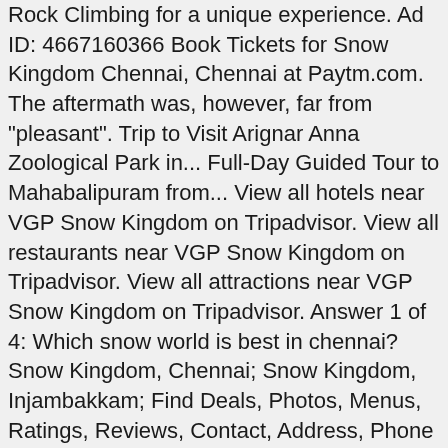Rock Climbing for a unique experience. Ad ID: 4667160366 Book Tickets for Snow Kingdom Chennai, Chennai at Paytm.com. The aftermath was, however, far from "pleasant". Trip to Visit Arignar Anna Zoological Park in... Full-Day Guided Tour to Mahabalipuram from... View all hotels near VGP Snow Kingdom on Tripadvisor. View all restaurants near VGP Snow Kingdom on Tripadvisor. View all attractions near VGP Snow Kingdom on Tripadvisor. Answer 1 of 4: Which snow world is best in chennai? Snow Kingdom, Chennai; Snow Kingdom, Injambakkam; Find Deals, Photos, Menus, Ratings, Reviews, Contact, Address, Phone Number, Maps and more for Snow Kingdom, Injambakkam on nearbuy.com Get amazing deals at Snow Kingdom in Chennai - only on nearbuy.com The park in Chennai is Tamil Naduâs first and only snow-themed park located on East Coast Road and operates as an independent facility, adjacent to VGP Universal Kingdom (part of VGP Golden Beach Area). In India, it was a year with monsoon where crops failed and plagues wreaked havoc. snowworld